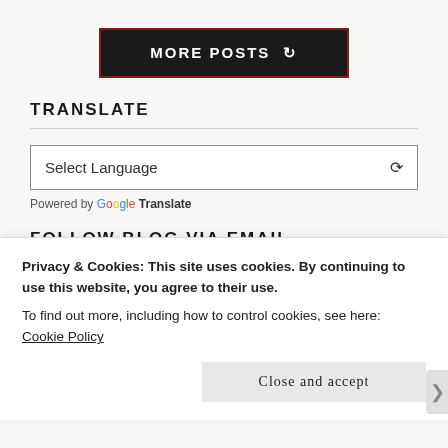[Figure (screenshot): A black button with dark red border reading MORE POSTS with a refresh/cycle icon]
TRANSLATE
[Figure (screenshot): Google Translate widget with Select Language dropdown and 'Powered by Google Translate' label]
FOLLOW BLOG VIA EMAIL
Enter your email address to follow this blog and receive notifications of new posts by email.
Privacy & Cookies: This site uses cookies. By continuing to use this website, you agree to their use.
To find out more, including how to control cookies, see here: Cookie Policy
Close and accept